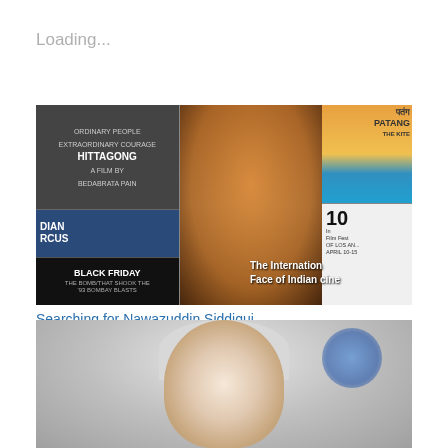Loading...
[Figure (photo): Collage of Bollywood movie posters including Chittagong, Indian Circus, Black Friday, Patang, and a film festival poster, with a stylized portrait of Nawazuddin Siddiqui in center. Text reads 'The International Face of Indian cinema']
Searching for Nawazuddin Siddiqui
April 20, 2013
In "bollywood"
[Figure (photo): Photo of an older man with grey/silver hair against a light background, partially visible, cropped at bottom of page]